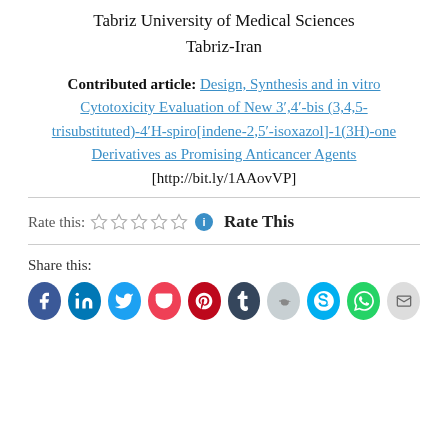Tabriz University of Medical Sciences
Tabriz-Iran
Contributed article: Design, Synthesis and in vitro Cytotoxicity Evaluation of New 3′,4′-bis (3,4,5-trisubstituted)-4′H-spiro[indene-2,5′-isoxazol]-1(3H)-one Derivatives as Promising Anticancer Agents
[http://bit.ly/1AAovVP]
Rate this: ☆☆☆☆☆ ⓘ Rate This
Share this:
[Figure (other): Social share icons: Facebook, LinkedIn, Twitter, Pocket, Pinterest, Tumblr, Reddit, Skype, WhatsApp, Email]